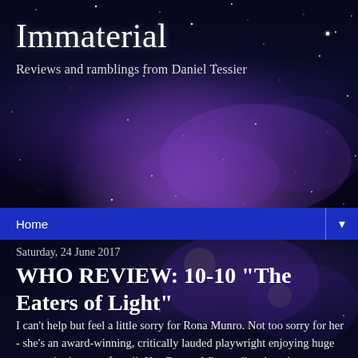[Figure (illustration): Dark starfield background with purple/violet nebula clouds and scattered white stars]
Immaterial
Reviews and ramblings from Daniel Tessier
Home ▼
Saturday, 24 June 2017
WHO REVIEW: 10-10 "The Eaters of Light"
I can't help but feel a little sorry for Rona Munro. Not too sorry for her - she's an award-winning, critically lauded playwright enjoying huge success in theatre, after all. Her Doctor Who credits, though, seem cursed to suffer ignominious fates. Her first story, Survival, was fated to be the last Doctor Who story of the original run. It wasn't meant to be - it was recorded third to last - but it was broadcast at